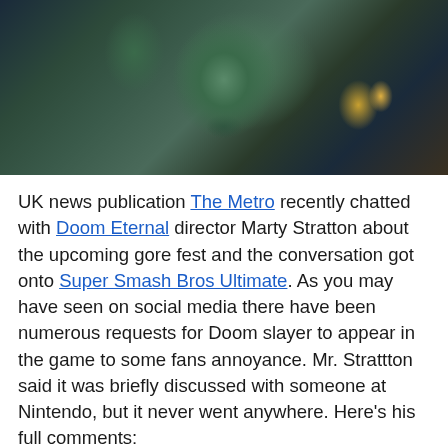[Figure (photo): Screenshot from Doom Eternal showing the Doom Slayer in green battle armor with fist raised in a dark cavernous environment with fire in the background]
UK news publication The Metro recently chatted with Doom Eternal director Marty Stratton about the upcoming gore fest and the conversation got onto Super Smash Bros Ultimate. As you may have seen on social media there have been numerous requests for Doom slayer to appear in the game to some fans annoyance. Mr. Strattton said it was briefly discussed with someone at Nintendo, but it never went anywhere. Here's his full comments:
GC: What about the rumours of Doom Slayer being in